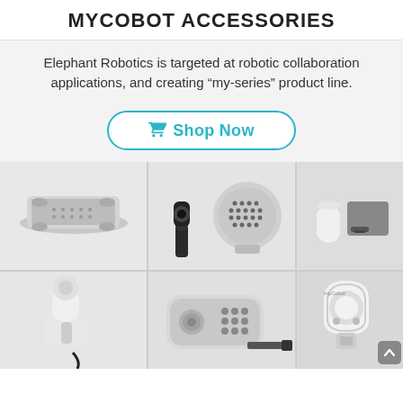MYCOBOT ACCESSORIES
Elephant Robotics is targeted at robotic collaboration applications, and creating “my-series” product line.
[Figure (other): Shop Now button with shopping cart icon, teal/cyan color, rounded rectangle border]
[Figure (photo): Grid of myCobot accessories product photos: top row shows a flat base plate with suction cups, a camera/sensor arm attachment and dot-grid sensor, and a small white+gray module. Bottom row shows a white gripper attachment, a small controller device with USB cable, and a white clamp mount accessory.]